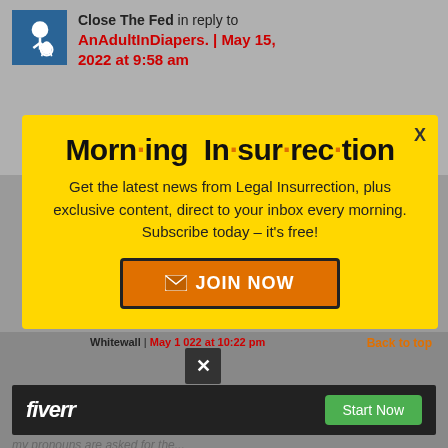Close The Fed in reply to AnAdultInDiapers. | May 15, 2022 at 9:58 am
[Figure (infographic): Morning Insurrection popup ad with yellow background, title 'Morn·ing In·sur·rec·tion', subscription call-to-action, and orange JOIN NOW button]
Whitewall | May 1 022 at 10:22 pm
[Figure (logo): Fiverr advertisement with dark background, fiverr logo and green Start Now button]
my pronouns are asked for the...